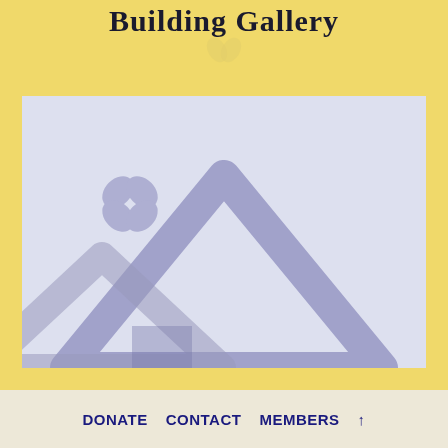Building Gallery
[Figure (illustration): Image placeholder with mountain/landscape silhouette icons and a four-petal flower icon in muted blue-purple tones on a light blue-grey background]
DONATE   CONTACT   MEMBERS   ↑